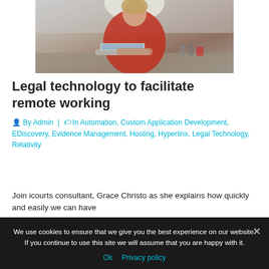[Figure (photo): Woman in red jacket working at a laptop, viewed from the side, on a desk with various items]
Legal technology to facilitate remote working
By Admin | In Automation, Custom Application Development, EDiscovery, Evidence Management, Hosting, Hyperlinx, Legal Technology, Relativity
Join icourts consultant, Grace Christo as she explains how quickly and easily we can have
We use cookies to ensure that we give you the best experience on our website. If you continue to use this site we will assume that you are happy with it.
Ok   Privacy policy